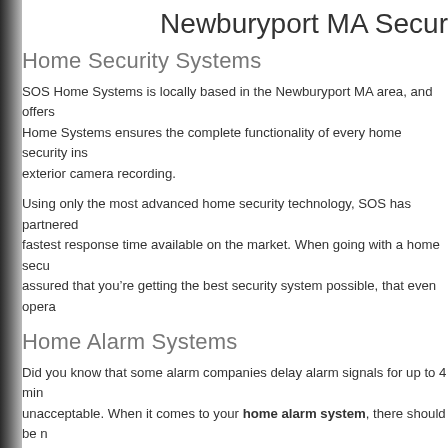Newburyport MA Secur
Home Security Systems
SOS Home Systems is locally based in the Newburyport MA area, and offers Home Systems ensures the complete functionality of every home security ins exterior camera recording.
Using only the most advanced home security technology, SOS has partnered fastest response time available on the market. When going with a home secu assured that you’re getting the best security system possible, that even opera
Home Alarm Systems
Did you know that some alarm companies delay alarm signals for up to 4 min unacceptable. When it comes to your home alarm system, there should be n or any other trouble signal, SOS will send your emergency instantly to the mo
SOS Home Systems understands that your family and property are the top pr and office that you deserve. Our Total Connect security systems are some of arming/disarming, streaming live video, receiving text/email alerts, and much maintenance of your alarm system to ensure that it is always working properly
Security Monitoring